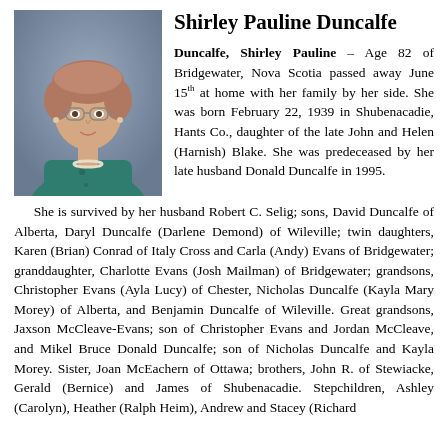[Figure (photo): Portrait photo of Shirley Pauline Duncalfe, an elderly woman with short reddish-grey hair and glasses, wearing a teal/green blazer, posed against a blue-grey studio background.]
Shirley Pauline Duncalfe
Duncalfe, Shirley Pauline – Age 82 of Bridgewater, Nova Scotia passed away June 15th at home with her family by her side. She was born February 22, 1939 in Shubenacadie, Hants Co., daughter of the late John and Helen (Harnish) Blake. She was predeceased by her late husband Donald Duncalfe in 1995.
She is survived by her husband Robert C. Selig; sons, David Duncalfe of Alberta, Daryl Duncalfe (Darlene Demond) of Wileville; twin daughters, Karen (Brian) Conrad of Italy Cross and Carla (Andy) Evans of Bridgewater; granddaughter, Charlotte Evans (Josh Mailman) of Bridgewater; grandsons, Christopher Evans (Ayla Lucy) of Chester, Nicholas Duncalfe (Kayla Mary Morey) of Alberta, and Benjamin Duncalfe of Wileville. Great grandsons, Jaxson McCleave-Evans; son of Christopher Evans and Jordan McCleave, and Mikel Bruce Donald Duncalfe; son of Nicholas Duncalfe and Kayla Morey. Sister, Joan McEachern of Ottawa; brothers, John R. of Stewiacke, Gerald (Bernice) and James of Shubenacadie. Stepchildren, Ashley (Carolyn), Heather (Ralph Heim), Andrew and Stacey (Richard